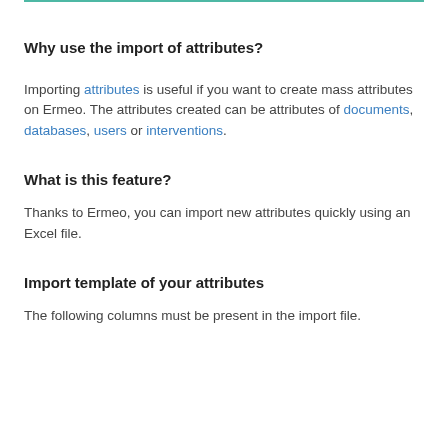Why use the import of attributes?
Importing attributes is useful if you want to create mass attributes on Ermeo. The attributes created can be attributes of documents, databases, users or interventions.
What is this feature?
Thanks to Ermeo, you can import new attributes quickly using an Excel file.
Import template of your attributes
The following columns must be present in the import file.